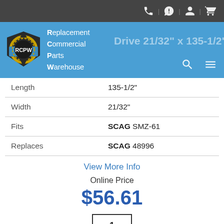[Figure (logo): RCPW Replacement Commercial Parts Warehouse logo with header navigation bar showing phone, chat, account, and cart icons, and a ghost title text 'Drive 21/32" x 135-1/2" Scag']
| Length | 135-1/2" |
| Width | 21/32" |
| Fits | SCAG SMZ-61 |
| Replaces | SCAG 48996 |
View More Info
Online Price
$56.61
1
Add To Cart